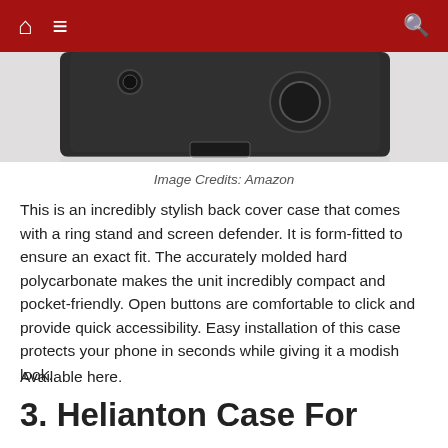Navigation bar with home, menu, and search icons
[Figure (photo): Product photo of a dark phone case (back cover) with ring stand, shown from the back, partially visible at top of page. Shadow reflection below.]
Image Credits: Amazon
This is an incredibly stylish back cover case that comes with a ring stand and screen defender. It is form-fitted to ensure an exact fit. The accurately molded hard polycarbonate makes the unit incredibly compact and pocket-friendly. Open buttons are comfortable to click and provide quick accessibility. Easy installation of this case protects your phone in seconds while giving it a modish look.
Available here.
3. Helianton Case For Zenfone Zoom ($...)